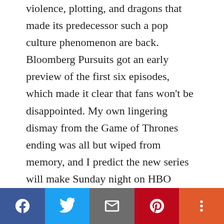violence, plotting, and dragons that made its predecessor such a pop culture phenomenon are back. Bloomberg Pursuits got an early preview of the first six episodes, which made it clear that fans won't be disappointed. My own lingering dismay from the Game of Thrones ending was all but wiped from memory, and I predict the new series will make Sunday night on HBO necessary viewing again. The show is set some 200 years before Thrones , at a time when the white-blond Targaryen dynasty have full control of the Iron Throne due to their fire-breathing dragons. The world feels a bit smaller than in Thrones , as the plot solely follows the Targaryen family's bloody
Facebook | Twitter | Email | Pinterest | More